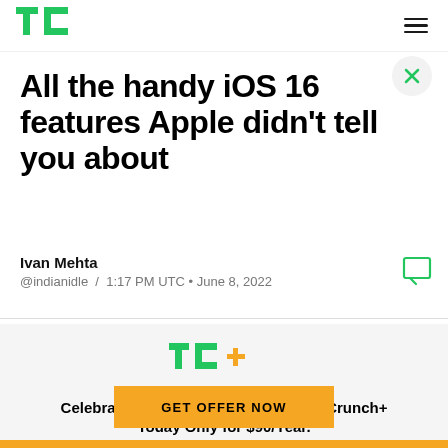TechCrunch
All the handy iOS 16 features Apple didn't tell you about
Ivan Mehta
@indianidle / 1:17 PM UTC • June 8, 2022
[Figure (infographic): TechCrunch+ subscription promotion banner with TC+ logo, text 'Celebrate Labor Day: Subscribe TechCrunch+ Today Only for $90/Year.' and a gold GET OFFER NOW button]